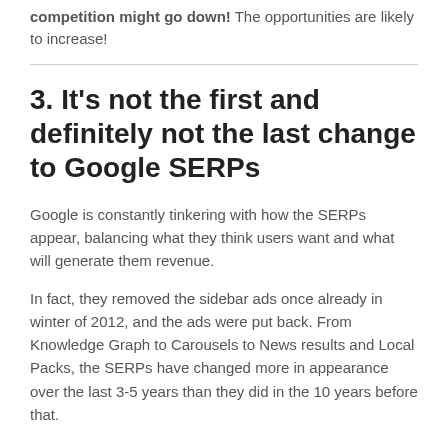competition might go down! The opportunities are likely to increase!
3. It's not the first and definitely not the last change to Google SERPs
Google is constantly tinkering with how the SERPs appear, balancing what they think users want and what will generate them revenue.
In fact, they removed the sidebar ads once already in winter of 2012, and the ads were put back. From Knowledge Graph to Carousels to News results and Local Packs, the SERPs have changed more in appearance over the last 3-5 years than they did in the 10 years before that.